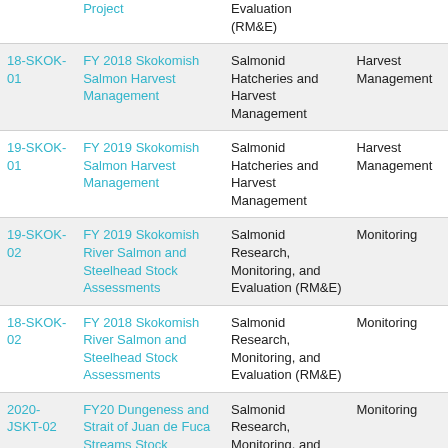| ID | Project Name | Category | Sub-category |
| --- | --- | --- | --- |
|  | Project | Evaluation (RM&E) |  |
| 18-SKOK-01 | FY 2018 Skokomish Salmon Harvest Management | Salmonid Hatcheries and Harvest Management | Harvest Management |
| 19-SKOK-01 | FY 2019 Skokomish Salmon Harvest Management | Salmonid Hatcheries and Harvest Management | Harvest Management |
| 19-SKOK-02 | FY 2019 Skokomish River Salmon and Steelhead Stock Assessments | Salmonid Research, Monitoring, and Evaluation (RM&E) | Monitoring |
| 18-SKOK-02 | FY 2018 Skokomish River Salmon and Steelhead Stock Assessments | Salmonid Research, Monitoring, and Evaluation (RM&E) | Monitoring |
| 2020-JSKT-02 | FY20 Dungeness and Strait of Juan de Fuca Streams Stock Assessments | Salmonid Research, Monitoring, and Evaluation (RM&E) | Monitoring |